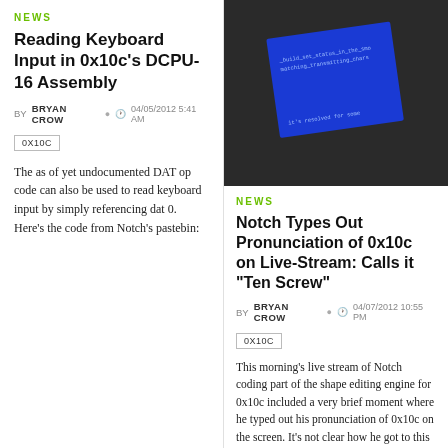NEWS
Reading Keyboard Input in 0x10c's DCPU-16 Assembly
BY BRYAN CROW  04/05/2012 5:41 AM
0X10C
The as of yet undocumented DAT op code can also be used to read keyboard input by simply referencing dat 0. Here's the code from Notch's pastebin:
[Figure (screenshot): Screenshot of a dark screen with a blue rectangle showing code text, resembling a DCPU-16 display output]
NEWS
Notch Types Out Pronunciation of 0x10c on Live-Stream: Calls it "Ten Screw"
BY BRYAN CROW  04/07/2012 10:55 PM
0X10C
This morning's live stream of Notch coding part of the shape editing engine for 0x10c included a very brief moment where he typed out his pronunciation of 0x10c on the screen. It's not clear how he got to this (or even if he was just trolling the live-stream viewers), but according to notch, it's pronounced ten screw: